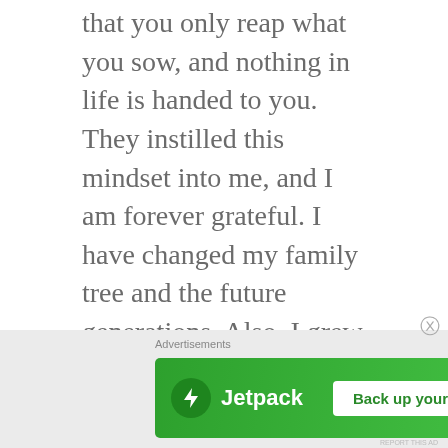that you only reap what you sow, and nothing in life is handed to you. They instilled this mindset into me, and I am forever grateful. I have changed my family tree and the future generations. Also, I grew up in the country, so I am just a country girl who loves to hunt and fish, but don't think for a second I don't love to get dressed up! I am a first generation to: not have a child at a young age, be married before 20, go to college, get a college degree, get two
[Figure (other): Jetpack advertisement banner with green background, Jetpack logo with lightning bolt icon, and 'Back up your site' white button]